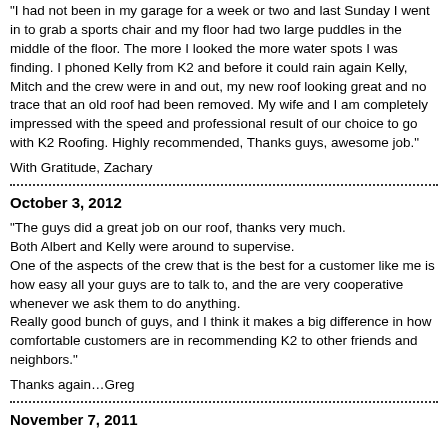"I had not been in my garage for a week or two and last Sunday I went in to grab a sports chair and my floor had two large puddles in the middle of the floor. The more I looked the more water spots I was finding. I phoned Kelly from K2 and before it could rain again Kelly, Mitch and the crew were in and out, my new roof looking great and no trace that an old roof had been removed. My wife and I am completely impressed with the speed and professional result of our choice to go with K2 Roofing. Highly recommended, Thanks guys, awesome job."
With Gratitude, Zachary
October 3, 2012
"The guys did a great job on our roof, thanks very much.
Both Albert and Kelly were around to supervise.
One of the aspects of the crew that is the best for a customer like me is how easy all your guys are to talk to, and the are very cooperative whenever we ask them to do anything.
Really good bunch of guys, and I think it makes a big difference in how comfortable customers are in recommending K2 to other friends and neighbors."
Thanks again…Greg
November 7, 2011